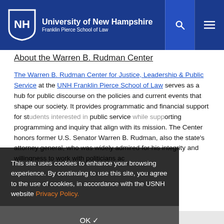University of New Hampshire Franklin Pierce School of Law
About the Warren B. Rudman Center
The Warren B. Rudman Center for Justice, Leadership & Public Service at the UNH Franklin Pierce School of Law serves as a hub for public discourse on the policies and current events that shape our society. It provides programmatic and financial support for students interested in public service while supporting programming and inquiry that align with its mission. The Center honors former U.S. Senator Warren B. Rudman, also the state’s attorney general, who was widely admired for his integrity and willingness to work with politicians ac
This site uses cookies to enhance your browsing experience. By continuing to use this site, you agree to the use of cookies, in accordance with the USNH website Privacy Policy.
OK ✓